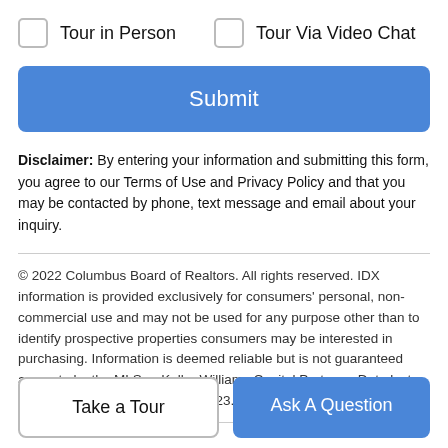Tour in Person
Tour Via Video Chat
Submit
Disclaimer: By entering your information and submitting this form, you agree to our Terms of Use and Privacy Policy and that you may be contacted by phone, text message and email about your inquiry.
© 2022 Columbus Board of Realtors. All rights reserved. IDX information is provided exclusively for consumers' personal, non-commercial use and may not be used for any purpose other than to identify prospective properties consumers may be interested in purchasing. Information is deemed reliable but is not guaranteed accurate by the MLS or Keller Williams Capital Partners. Data last updated: 2022-08-22T19:52:47.523.
Take a Tour
Ask A Question